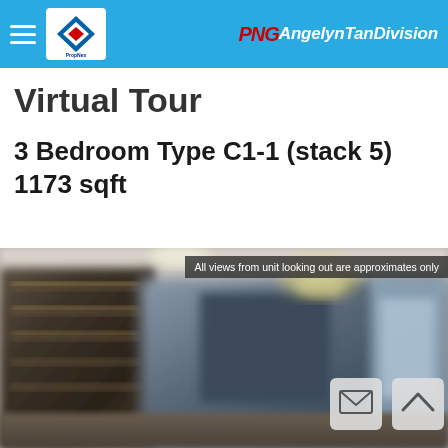PropNex — PNG AngelynTanDivision
Virtual Tour
3 Bedroom Type C1-1 (stack 5) 1173 sqft
[Figure (photo): Blurred interior virtual tour photo of a luxury apartment living room with built-in shelving, chandelier, and city view windows]
All views from unit looking out are approximates only